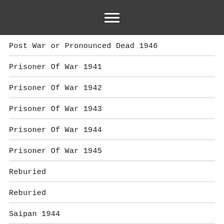menu
Post War or Pronounced Dead 1946
Prisoner Of War 1941
Prisoner Of War 1942
Prisoner Of War 1943
Prisoner Of War 1944
Prisoner Of War 1945
Reburied
Reburied
Saipan 1944
Samon 1944